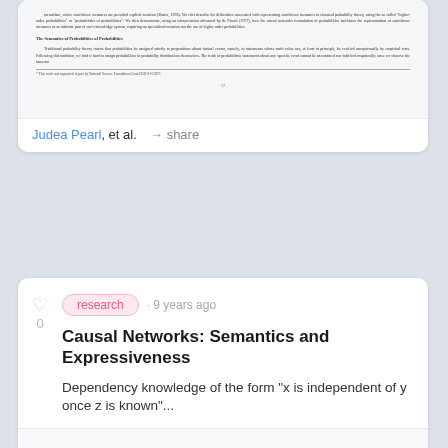[Figure (screenshot): A scanned academic paper page showing text about confidence measures and causal networks, with a section header 'The Semantics of Probabilities of Probabilities', body text paragraphs, a footnote, and page number 17.]
Judea Pearl, et al. · share
research · 9 years ago
Causal Networks: Semantics and Expressiveness
Dependency knowledge of the form "x is independent of y once z is known"...
[Figure (screenshot): A scanned academic paper page preview showing the title 'Causal Networks: Semantics and Expressiveness' centered on the page.]